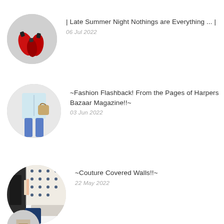| Late Summer Night Nothings are Everything ... | — 06 Jul 2022
~Fashion Flashback! From the Pages of Harpers Bazaar Magazine!!~ — 03 Jun 2022
~Couture Covered Walls!!~ — 22 May 2022